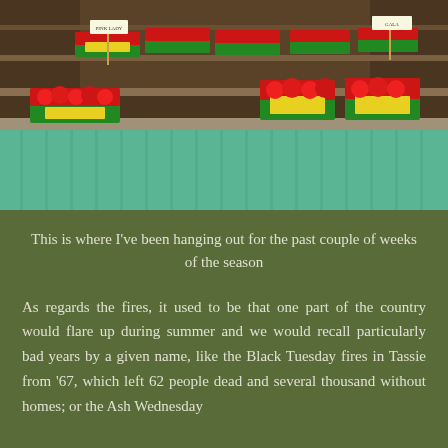[Figure (photo): A fruit stand or market stall showing red apples displayed in green and yellow branded boxes on wooden shelves. The front of the stand has a teal/mint green corrugated metal panel. Multiple boxes of apples are arranged on shelves in the background and on the counter.]
This is where I've been hanging out for the past couple of weeks of the season
As regards the fires, it used to be that one part of the country would flare up during summer and we would recall particularly bad years by a given name, like the Black Tuesday fires in Tassie from '67, which left 62 people dead and several thousand without homes; or the Ash Wednesday